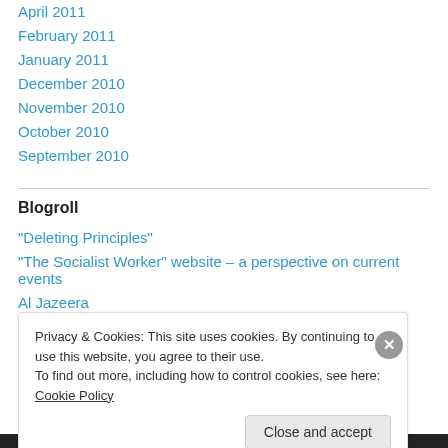April 2011
February 2011
January 2011
December 2010
November 2010
October 2010
September 2010
Blogroll
"Deleting Principles"
"The Socialist Worker" website – a perspective on current events
Al Jazeera
Privacy & Cookies: This site uses cookies. By continuing to use this website, you agree to their use.
To find out more, including how to control cookies, see here: Cookie Policy
Close and accept